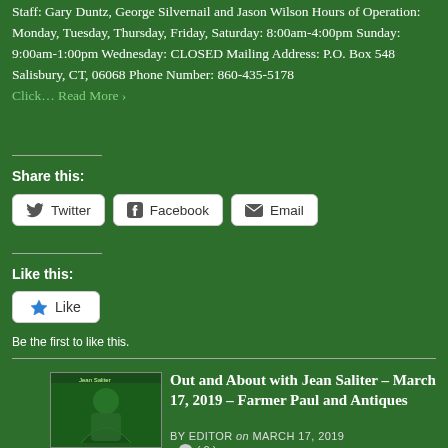Staff: Gary Duntz, George Silvernail and Jason Wilson Hours of Operation: Monday, Tuesday, Thursday, Friday, Saturday: 8:00am-4:00pm Sunday: 9:00am-1:00pm Wednesday: CLOSED Mailing Address: P.O. Box 548 Salisbury, CT, 06068 Phone Number: 860-435-5178 Click… Read More ›
Share this:
[Figure (screenshot): Social share buttons for Twitter, Facebook, and Email]
Like this:
[Figure (screenshot): Like button widget]
Be the first to like this.
Out and About with Jean Saliter – March 17, 2019 – Farmer Paul and Antiques
BY EDITOR on MARCH 17, 2019
[Figure (photo): Thumbnail image for the related post about Jean Saliter]
( 0 )